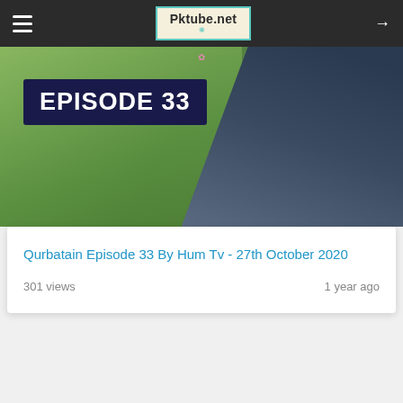Pktube.net
[Figure (screenshot): Video thumbnail showing 'EPISODE 33' badge on a dark navy background, with greenery and a person in dark clothing visible in the background]
Qurbatain Episode 33 By Hum Tv - 27th October 2020
301 views
1 year ago